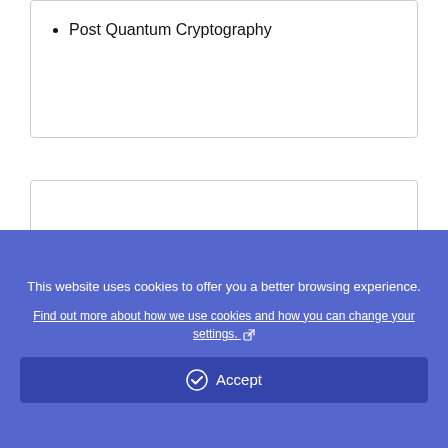Post Quantum Cryptography
EMERGING TECH & BUSINESS MODELS
This website uses cookies to offer you a better browsing experience.
Find out more about how we use cookies and how you can change your settings.
Accept